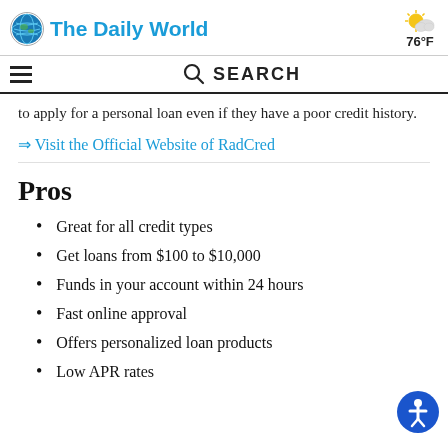The Daily World | 76°F
to apply for a personal loan even if they have a poor credit history.
⇒ Visit the Official Website of RadCred
Pros
Great for all credit types
Get loans from $100 to $10,000
Funds in your account within 24 hours
Fast online approval
Offers personalized loan products
Low APR rates